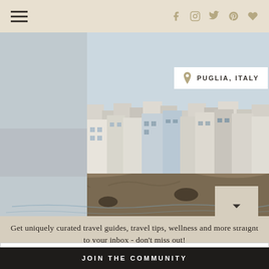Navigation header with hamburger menu and social icons (Facebook, Instagram, Twitter, Pinterest, Heart)
[Figure (photo): Coastal town of Puglia, Italy — white and light-blue buildings perched on rocky limestone cliffs above the sea. Location label overlay reads: PUGLIA, ITALY]
Get uniquely curated travel guides, travel tips, wellness and more straight to your inbox - don't miss out!
YOUR EMAIL ADDRESS...
JOIN THE COMMUNITY